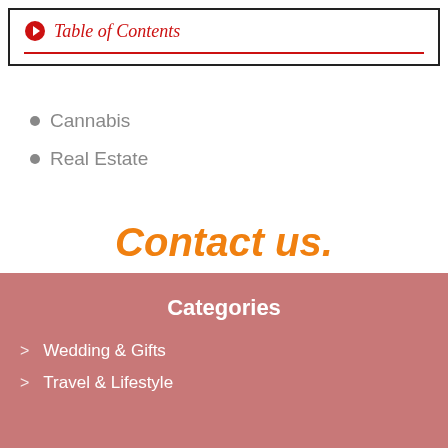Table of Contents
Cannabis
Real Estate
Contact us.
Categories
Wedding & Gifts
Travel & Lifestyle